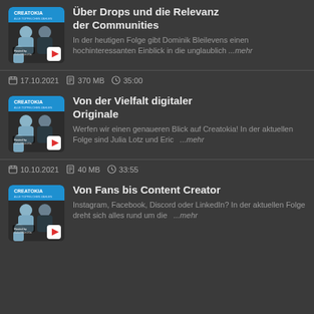[Figure (screenshot): Podcast thumbnail for Creatokia episode 1 with two hosts]
Über Drops und die Relevanz der Communities
In der heutigen Folge gibt Dominik Bleilevens einen hochinteressanten Einblick in die unglaublich ...mehr
17.10.2021  370 MB  35:00
[Figure (screenshot): Podcast thumbnail for Creatokia episode 2 with two hosts]
Von der Vielfalt digitaler Originale
Werfen wir einen genaueren Blick auf Creatokia! In der aktuellen Folge sind Julia Lotz und Eric   ...mehr
10.10.2021  40 MB  33:55
[Figure (screenshot): Podcast thumbnail for Creatokia episode 3 with two hosts]
Von Fans bis Content Creator
Instagram, Facebook, Discord oder LinkedIn? In der aktuellen Folge dreht sich alles rund um die   ...mehr